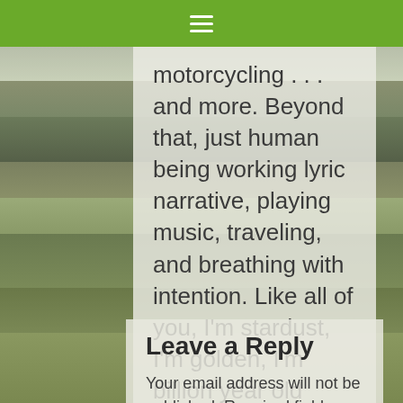≡
motorcycling . . . and more. Beyond that, just human being working lyric narrative, playing music, traveling, and breathing with intention. Like all of you, I'm stardust, I'm golden, I'm billion year old carbon.
Leave a Reply
Your email address will not be published. Required fields are marked *